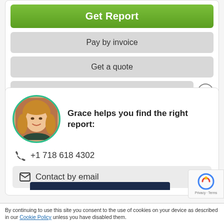Get Report
Pay by invoice
Get a quote
Order by PO
Grace helps you find the right report:
[Figure (photo): Headshot of Grace, a smiling woman with blonde hair, shown in a circular frame with a teal/green border.]
+1 718 618 4302
Contact by email
[Figure (logo): Google reCAPTCHA badge with spinning icon and Privacy/Terms text]
By continuing to use this site you consent to the use of cookies on your device as described in our Cookie Policy unless you have disabled them.